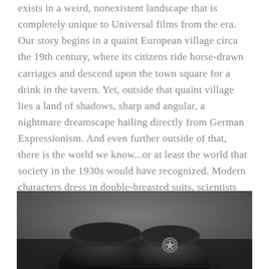exists in a weird, nonexistent landscape that is completely unique to Universal films from the era. Our story begins in a quaint European village circa the 19th century, where its citizens ride horse-drawn carriages and descend upon the town square for a drink in the tavern. Yet, outside that quaint village lies a land of shadows, sharp and angular, a nightmare dreamscape hailing directly from German Expressionism. And even further outside of that, there is the world we know...or at least the world that society in the 1930s would have recognized. Modern characters dress in double-breasted suits, scientists have all the latest equipment, like electricity, automobiles, and I even spotted a hot water heater in one scene. There seem to be three distinct dimensions that comprise the world of Universal Horror, and they're all on full display in The Invisible Man.
[Figure (photo): Black and white photograph showing two police/constable hats on a surface, one plain dark hat on the left and one with a badge/emblem on the right, dark moody lighting]